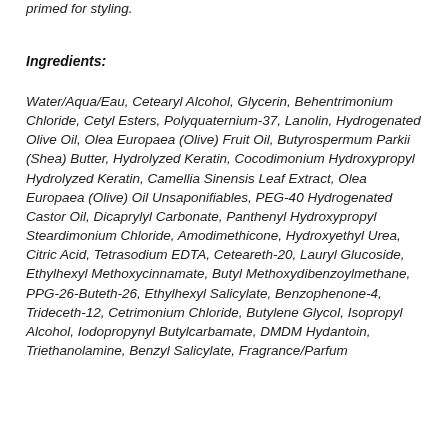primed for styling.
Ingredients:
Water/Aqua/Eau, Cetearyl Alcohol, Glycerin, Behentrimonium Chloride, Cetyl Esters, Polyquaternium-37, Lanolin, Hydrogenated Olive Oil, Olea Europaea (Olive) Fruit Oil, Butyrospermum Parkii (Shea) Butter, Hydrolyzed Keratin, Cocodimonium Hydroxypropyl Hydrolyzed Keratin, Camellia Sinensis Leaf Extract, Olea Europaea (Olive) Oil Unsaponifiables, PEG-40 Hydrogenated Castor Oil, Dicaprylyl Carbonate, Panthenyl Hydroxypropyl Steardimonium Chloride, Amodimethicone, Hydroxyethyl Urea, Citric Acid, Tetrasodium EDTA, Ceteareth-20, Lauryl Glucoside, Ethylhexyl Methoxycinnamate, Butyl Methoxydibenzoylmethane, PPG-26-Buteth-26, Ethylhexyl Salicylate, Benzophenone-4, Trideceth-12, Cetrimonium Chloride, Butylene Glycol, Isopropyl Alcohol, Iodopropynyl Butylcarbamate, DMDM Hydantoin, Triethanolamine, Benzyl Salicylate, Fragrance/Parfum